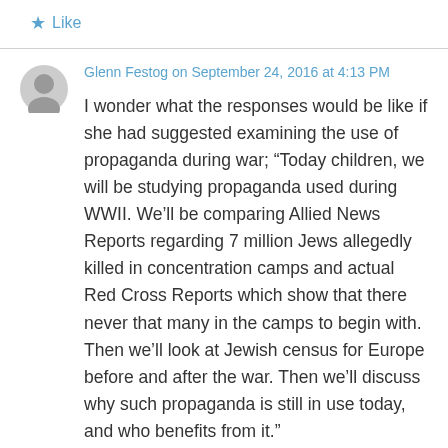Like
Glenn Festog on September 24, 2016 at 4:13 PM
I wonder what the responses would be like if she had suggested examining the use of propaganda during war; “Today children, we will be studying propaganda used during WWII. We’ll be comparing Allied News Reports regarding 7 million Jews allegedly killed in concentration camps and actual Red Cross Reports which show that there never that many in the camps to begin with. Then we’ll look at Jewish census for Europe before and after the war. Then we’ll discuss why such propaganda is still in use today, and who benefits from it.”